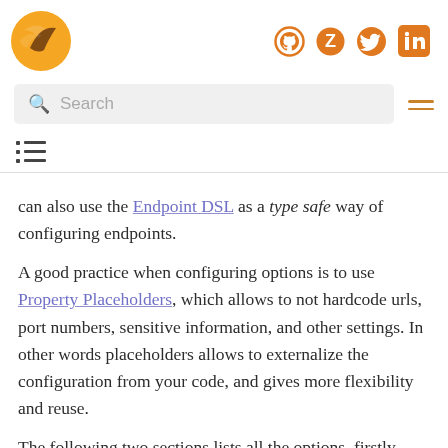Logo and social icons (GitHub, Zulip, Twitter, LinkedIn)
Search
[Figure (other): Table of contents / list icon]
can also use the Endpoint DSL as a type safe way of configuring endpoints.
A good practice when configuring options is to use Property Placeholders, which allows to not hardcode urls, port numbers, sensitive information, and other settings. In other words placeholders allows to externalize the configuration from your code, and gives more flexibility and reuse.
The following two sections lists all the options, firstly